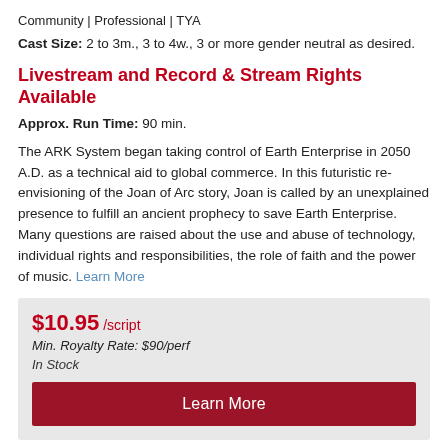Community | Professional | TYA
Cast Size: 2 to 3m., 3 to 4w., 3 or more gender neutral as desired.
Livestream and Record & Stream Rights Available
Approx. Run Time: 90 min.
The ARK System began taking control of Earth Enterprise in 2050 A.D. as a technical aid to global commerce. In this futuristic re-envisioning of the Joan of Arc story, Joan is called by an unexplained presence to fulfill an ancient prophecy to save Earth Enterprise. Many questions are raised about the use and abuse of technology, individual rights and responsibilities, the role of faith and the power of music. Learn More
| $10.95 /script |
| Min. Royalty Rate: $90/perf |
| In Stock |
| Learn More |